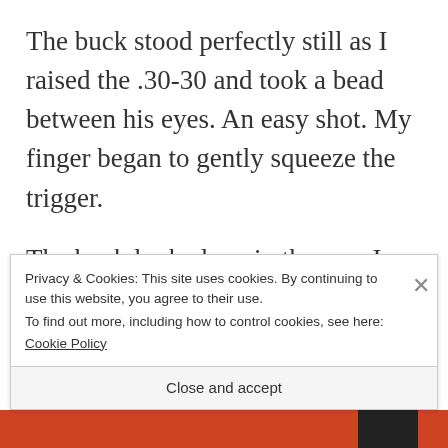The buck stood perfectly still as I raised the .30-30 and took a bead between his eyes. An easy shot. My finger began to gently squeeze the trigger.
The buck looked me in the eye–I had early-on learned to shoot with both eyes open so I wouldn't miss anything.
Privacy & Cookies: This site uses cookies. By continuing to use this website, you agree to their use.
To find out more, including how to control cookies, see here:
Cookie Policy
Close and accept